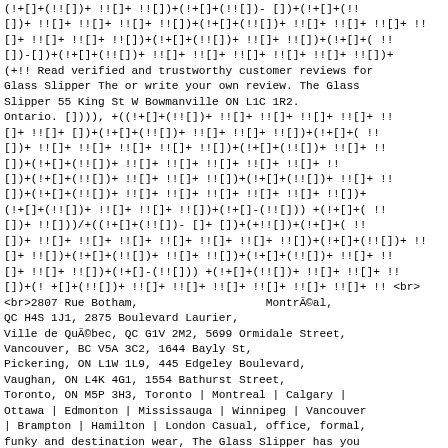(!+[]+(!![])+ !![]+ !![])+(!+[]+(!![])- [])+(!+[]+(!!
[])+ !![]+ !![]+ !![]+ !![])+(!+[]+(!![])+ !![]+ !![]+ !![]+ !!
[]+ !![]+ !![]+ !![])+(!+[]+(!![])+ !![]+ !![])+(!+[]+(!!
[])-[])+(!+[]+(!![])+ !![]+ !![]+ !![]+ !![]+ !![]+ !![])+
(+!! Read verified and trustworthy customer reviews for
Glass Slipper The or write your own review. The Glass
Slipper 55 King St W Bowmanville ON L1C 1R2.
Ontario. []))), +((!+[]+(!![])+ !![]+ !![]+ !![]+ !![]+ !!
[]+ !![]+ [])+(!+[]+(!![])+ !![]+ !![]+ !![])+(!+[]+(!!
[])+ !![]+ !![]+ !![]+ !![]+ !![])+(!+[]+(!![])+ !![]+ !!
[])+(!+[]+(!![])+ !![]+ !![]+ !![]+ !![]+ !![]+ !!
[])+(![]+(!![])+ !![]+ !![]+ !![])+(!+[]-(!![])) +(!+[]+(!!
[])+ !![])/+((!+[]+(!![])- []+ [])+(+!![])+(!+[]+(!!
[])+ !![]+ !![]+ !![]+ !![]+ !![]+ !![])+(!+[]+(!![])+ !!
[]+ !![])+(!+[]+(!![])+ !![]+ !![])+(!+[]+(!![])+ !![]+ !!
[]+ !![]+ !![])+(!+[]-(!![])) +(!+[]+(!![])+ !![]+ !![]+ !!
[])+(+!+[]+(!![])+ !![]+ !![]+ !![]+ !![]+ !![]+ !! <br>
<br>2807 Rue Botham,                   Montréal,
QC H4S 1J1, 2875 Boulevard Laurier,
Ville de Québec, QC G1V 2M2, 5699 Ormidale Street,
Vancouver, BC V5A 3C2, 1644 Bayly St,
Pickering, ON L1W 1L9, 445 Edgeley Boulevard,
Vaughan, ON L4K 4G1, 1554 Bathurst Street,
Toronto, ON M5P 3H3, Toronto | Montreal | Calgary |
Ottawa | Edmonton | Mississauga | Winnipeg | Vancouver
| Brampton | Hamilton | London Casual, office, formal,
funky and destination wear, The Glass Slipper has you
covered with brands such as:Â  Rieker, Portia, Tamaris,
Blondo, Earth, Taos, Vionic Orthaheel, Geox and MJUS.